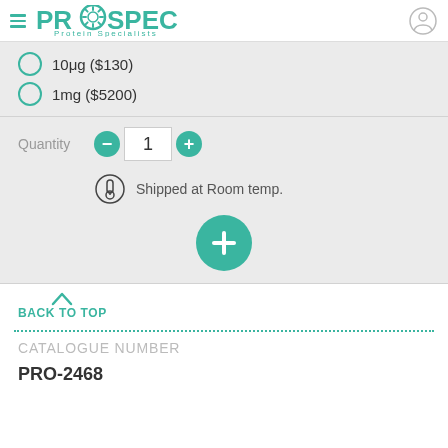[Figure (logo): ProSpec Protein Specialists logo with hamburger menu icon and user account icon]
10μg ($130)
1mg ($5200)
Quantity 1
Shipped at Room temp.
BACK TO TOP
CATALOGUE NUMBER
PRO-2468